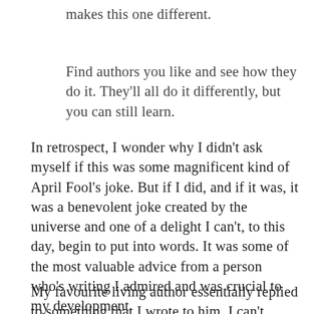makes this one different.
Find authors you like and see how they do it. They'll all do it differently, but you can still learn.
In retrospect, I wonder why I didn't ask myself if this was some magnificent kind of April Fool's joke. But if I did, and if it was, it was a benevolent joke created by the universe and one of a delight I can't, to this day, begin to put into words. It was some of the most valuable advice from a person who's writing I admired and was crucial to my development.
My favourite living author essentially replied to something that I wrote to him. I can't remember